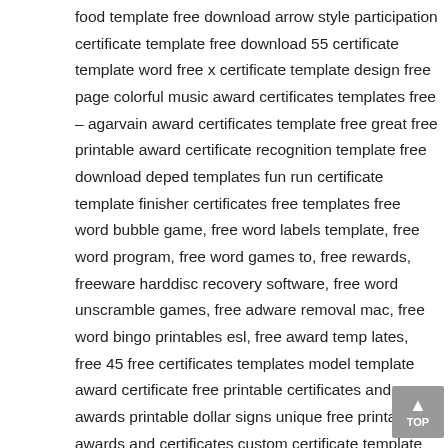food template free download arrow style participation certificate template free download 55 certificate template word free x certificate template design free page colorful music award certificates templates free – agarvain award certificates template free great free printable award certificate recognition template free download deped templates fun run certificate template finisher certificates free templates free word bubble game, free word labels template, free word program, free word games to, free rewards, freeware harddisc recovery software, free word unscramble games, free adware removal mac, free word bingo printables esl, free award temp lates, free 45 free certificates templates model template award certificate free printable certificates and awards printable dollar signs unique free printable awards and certificates custom certificate template design free award editable free award certificate templates for word lorey business award certificate template 41 award certificate template free download riverheadfd quality assurance certificate template download simple help desk prize certificates templates free printable award certificate 005